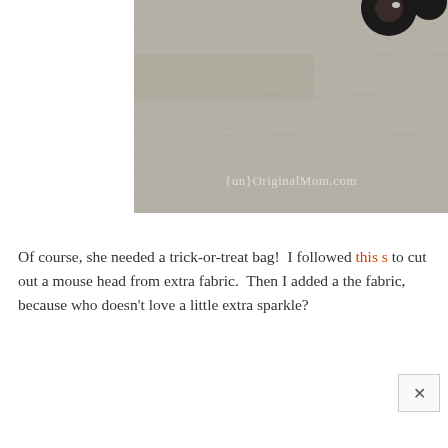[Figure (photo): Close-up photo of gray fabric/textile material with a dark mouse ear visible at top right. Watermark reads {un}OriginalMom.com in white text.]
Of course, she needed a trick-or-treat bag!  I followed this s to cut out a mouse head from extra fabric.  Then I added a the fabric, because who doesn't love a little extra sparkle?